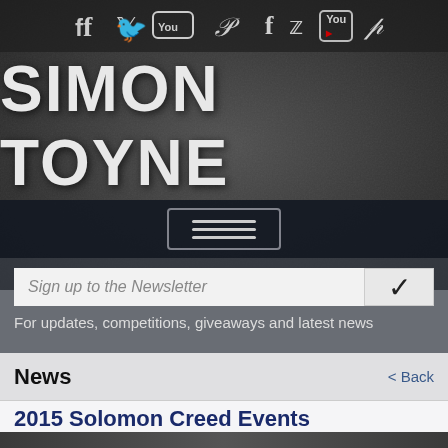SIMON TOYNE
[Figure (screenshot): Social media icons: Facebook, Twitter, YouTube, Pinterest]
[Figure (screenshot): Navigation hamburger menu button]
Sign up to the Newsletter
For updates, competitions, giveaways and latest news
News
< Back
2015 Solomon Creed Events
Monday 13th April 2015